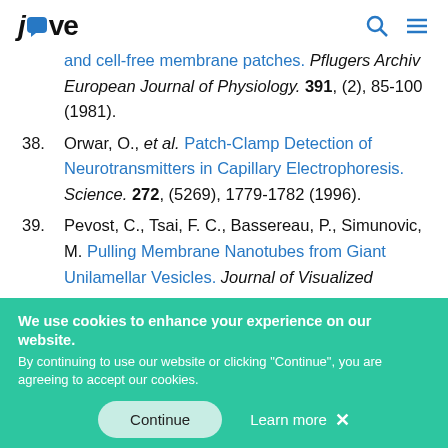JoVE [logo with search and menu icons]
and cell-free membrane patches. Pflugers Archiv European Journal of Physiology. 391, (2), 85-100 (1981).
38. Orwar, O., et al. Patch-Clamp Detection of Neurotransmitters in Capillary Electrophoresis. Science. 272, (5269), 1779-1782 (1996).
39. Pevost, C., Tsai, F. C., Bassereau, P., Simunovic, M. Pulling Membrane Nanotubes from Giant Unilamellar Vesicles. Journal of Visualized
We use cookies to enhance your experience on our website. By continuing to use our website or clicking "Continue", you are agreeing to accept our cookies.